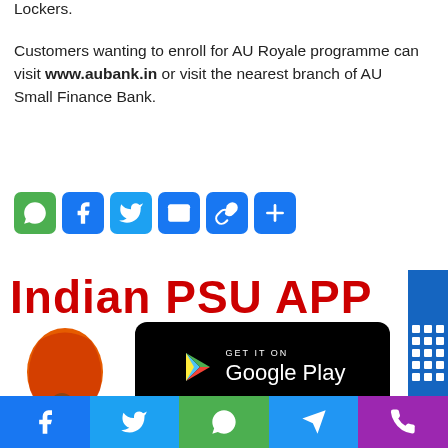Lockers.
Customers wanting to enroll for AU Royale programme can visit www.aubank.in or visit the nearest branch of AU Small Finance Bank.
[Figure (infographic): Row of social sharing icon buttons: WhatsApp (green), Facebook (blue), Twitter (blue), Email (blue), Copy link (blue), Share/Plus (blue)]
[Figure (infographic): Indian PSU App banner with large red bold text 'Indian PSU APP', India map graphic in orange, Google Play download button, blue sidebar with grid pattern, and text 'Now available on Android']
[Figure (infographic): Bottom navigation bar with Facebook, Twitter, WhatsApp, Telegram, and Phone icons on colored backgrounds]